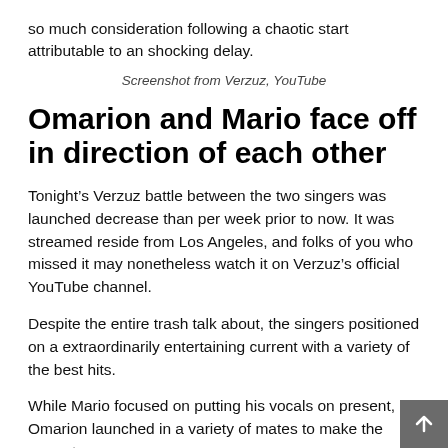so much consideration following a chaotic start attributable to an shocking delay.
Screenshot from Verzuz, YouTube
Omarion and Mario face off in direction of each other
Tonight’s Verzuz battle between the two singers was launched decrease than per week prior to now. It was streamed reside from Los Angeles, and folks of you who missed it may nonetheless watch it on Verzuz’s official YouTube channel.
Despite the entire trash talk about, the singers positioned on a extraordinarily entertaining current with a variety of the best hits.
While Mario focused on putting his vocals on present, Omarion launched in a variety of mates to make the current